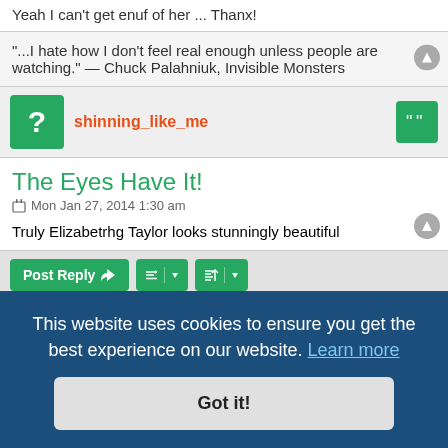Yeah I can't get enuf of her ... Thanx!
"...I hate how I don't feel real enough unless people are watching." — Chuck Palahniuk, Invisible Monsters
shinning_like_me
The Eyes Have It!
Mon Jan 27, 2014 1:30 am
Truly Elizabetrhg Taylor looks stunningly beautiful
14 posts • Page 1 of 1
This website uses cookies to ensure you get the best experience on our website. Learn more
Got it!